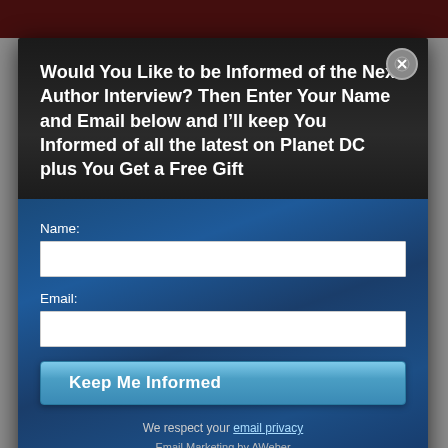[Figure (screenshot): A website modal popup with a dark header containing a newsletter signup prompt, and a blue wood-textured body with Name and Email form fields, a 'Keep Me Informed' button, privacy text, and Email Marketing by AWeber link. A close button (X) is in the top-right corner. Behind the modal is a white page with a dark red header bar and body text about London Book Fair.]
Would You Like to be Informed of the Next Author Interview? Then Enter Your Name and Email below and I'll keep You Informed of all the latest on Planet DC plus You Get a Free Gift
every move as she's very talented and has some interesting projects in the pipeline. You can read my London Book Fair – Wednesday post